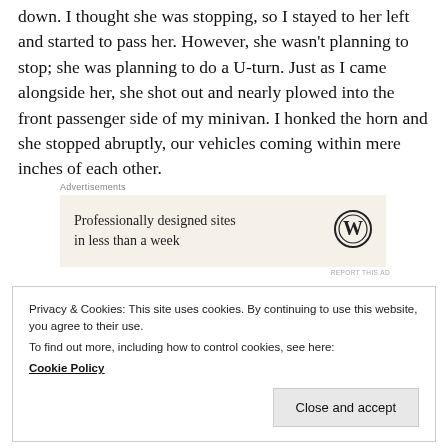down. I thought she was stopping, so I stayed to her left and started to pass her. However, she wasn't planning to stop; she was planning to do a U-turn. Just as I came alongside her, she shot out and nearly plowed into the front passenger side of my minivan. I honked the horn and she stopped abruptly, our vehicles coming within mere inches of each other.
[Figure (other): Advertisement box with text 'Professionally designed sites in less than a week' and WordPress logo on a beige background, labeled 'Advertisements' above and 'REPORT THIS AD' below right.]
Privacy & Cookies: This site uses cookies. By continuing to use this website, you agree to their use.
To find out more, including how to control cookies, see here:
Cookie Policy